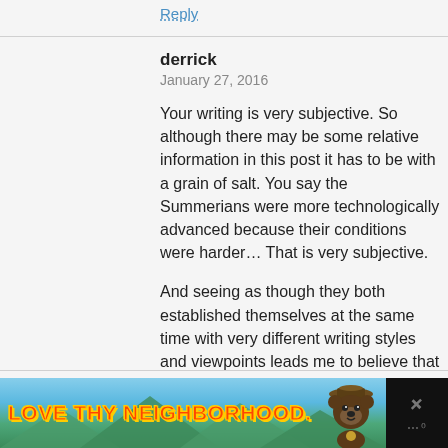Reply
derrick
January 27, 2016
Your writing is very subjective. So although there may be some relative information in this post it has to be with a grain of salt. You say the Summerians were more technologically advanced because their conditions were harder… That is very subjective.
And seeing as though they both established themselves at the same time with very different writing styles and viewpoints leads me to believe that neither copied from the other
Reply
Student
September 20, 2016
[Figure (photo): Advertisement banner: dark background with 'LOVE THY NEIGHBORHOOD.' text in orange/red with yellow outline on a nature/mountain scene background, Smokey Bear mascot on right side, X close button on far right]